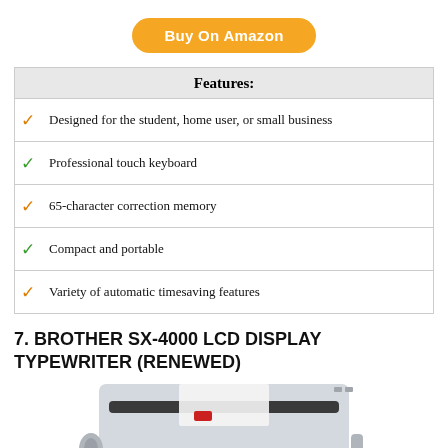Buy On Amazon
| Features: |
| --- |
| ✓ Designed for the student, home user, or small business |
| ✓ Professional touch keyboard |
| ✓ 65-character correction memory |
| ✓ Compact and portable |
| ✓ Variety of automatic timesaving features |
7. BROTHER SX-4000 LCD DISPLAY TYPEWRITER (RENEWED)
[Figure (photo): Photo of a Brother SX-4000 typewriter with LCD display, light grey casing, keyboard visible, and paper loaded.]